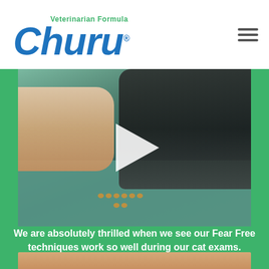Veterinarian Formula Churu® — hamburger menu navigation
[Figure (screenshot): Video thumbnail showing a cat lying on a teal veterinary exam table being examined. A hand holds a syringe near the cat. A play button (white triangle) is overlaid in the center. Small treats/kibble are visible on the table.]
We are absolutely thrilled when we see our Fear Free techniques work so well during our cat exams.
#HowDoYouChuru
[Figure (photo): Partial photo at bottom showing what appears to be an animal (cat/dog) — only the top edge is visible.]